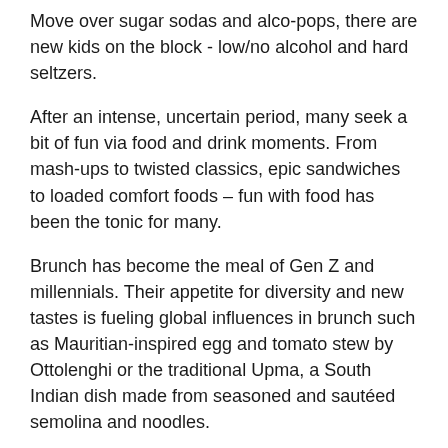Move over sugar sodas and alco-pops, there are new kids on the block - low/no alcohol and hard seltzers.
After an intense, uncertain period, many seek a bit of fun via food and drink moments. From mash-ups to twisted classics, epic sandwiches to loaded comfort foods – fun with food has been the tonic for many.
Brunch has become the meal of Gen Z and millennials. Their appetite for diversity and new tastes is fueling global influences in brunch such as Mauritian-inspired egg and tomato stew by Ottolenghi or the traditional Upma, a South Indian dish made from seasoned and sautéed semolina and noodles.
A new mega trend for this year is Street Food Eats. Despite life in lockdown, street food operators were determined not to be defeated. These stalls, by nature, are takeaway designed, and as such, they didn't have to pivot like other restaurants. Instead, they were ready to serve customers who could get their favourite eats delivered by anything from Uber Eats to Deliveroo.